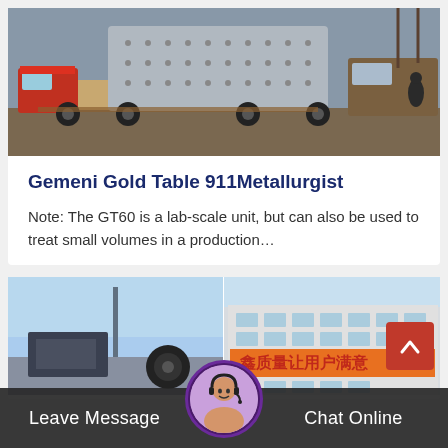[Figure (photo): A large cylindrical industrial machine/tank being transported on a flatbed truck on a street, with another truck visible in the background and a person nearby.]
Gemeni Gold Table 911Metallurgist
Note: The GT60 is a lab-scale unit, but can also be used to treat small volumes in a production…
[Figure (photo): A split image showing industrial equipment/machinery on the left and a factory building with Chinese text '鑫质量让用户满意' on the right.]